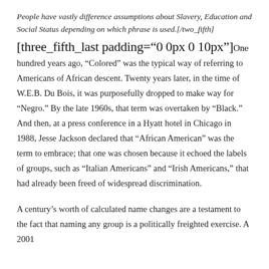People have vastly difference assumptions about Slavery, Education and Social Status depending on which phrase is used.[/two_fifth]
[three_fifth_last padding="0 0px 0 10px"]One hundred years ago, “Colored” was the typical way of referring to Americans of African descent. Twenty years later, in the time of W.E.B. Du Bois, it was purposefully dropped to make way for “Negro.” By the late 1960s, that term was overtaken by “Black.” And then, at a press conference in a Hyatt hotel in Chicago in 1988, Jesse Jackson declared that “African American” was the term to embrace; that one was chosen because it echoed the labels of groups, such as “Italian Americans” and “Irish Americans,” that had already been freed of widespread discrimination.
A century’s worth of calculated name changes are a testament to the fact that naming any group is a politically freighted exercise. A 2001